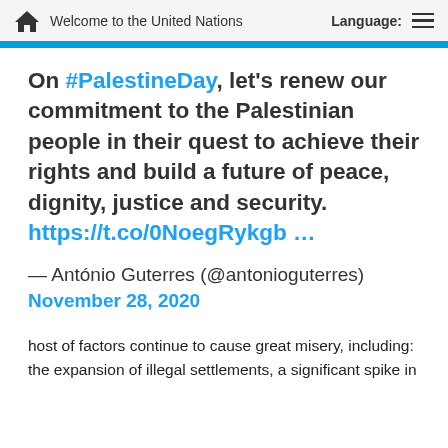Welcome to the United Nations   Language:
On #PalestineDay, let's renew our commitment to the Palestinian people in their quest to achieve their rights and build a future of peace, dignity, justice and security. https://t.co/0NoegRykgb
— António Guterres (@antonioguterres) November 28, 2020
host of factors continue to cause great misery, including: the expansion of illegal settlements, a significant spike in